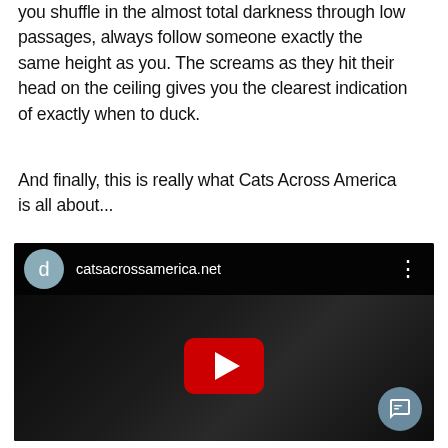you shuffle in the almost total darkness through low passages, always follow someone exactly the same height as you. The screams as they hit their head on the ceiling gives you the clearest indication of exactly when to duck.
And finally, this is really what Cats Across America is all about...
[Figure (screenshot): Embedded YouTube video player showing a dark thumbnail with a red play button. The top bar shows a grey avatar circle with the letter 'd', the channel name 'catsacrossamerica.net', and a vertical three-dot menu icon. A chat bubble icon appears in the bottom right corner.]